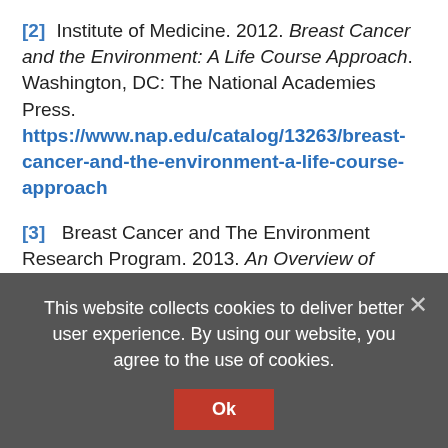[2] Institute of Medicine. 2012. Breast Cancer and the Environment: A Life Course Approach. Washington, DC: The National Academies Press. https://www.nap.edu/catalog/13263/breast-cancer-and-the-environment-a-life-course-approach
[3] Breast Cancer and The Environment Research Program. 2013. An Overview of Recent Research Findings Applicable to Health Professionals. https://bcerp.org/wp-content/uploads/2016/11/Final-BCERP_Monograph-
This website collects cookies to deliver better user experience. By using our website, you agree to the use of cookies.